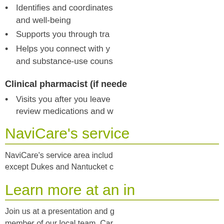Identifies and coordinates and well-being
Supports you through tra
Helps you connect with y and substance-use couns
Clinical pharmacist (if neede
Visits you after you leave review medications and w
NaviCare's service
NaviCare's service area includ except Dukes and Nantucket c
Learn more at an in
Join us at a presentation and g member of our local team. Car times? No problem. You can c